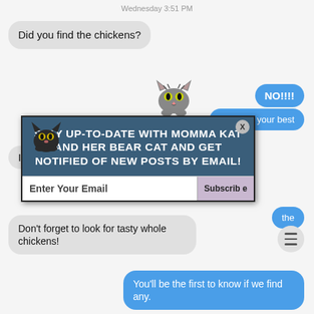Wednesday 3:51 PM
Did you find the chickens?
NO!!!!
...you on your best
If you
[Figure (illustration): Cartoon cat face emoji peeking from top, gray striped cat with yellow-green eyes]
[Figure (screenshot): Popup overlay with dark blue background showing newsletter subscription text and cat illustration. Text reads: STAY UP-TO-DATE WITH MOMMA KAT AND HER BEAR CAT AND GET NOTIFIED OF NEW POSTS BY EMAIL! With Enter Your Email field and Subscribe button.]
the
Don't forget to look for tasty whole chickens!
You'll be the first to know if we find any.